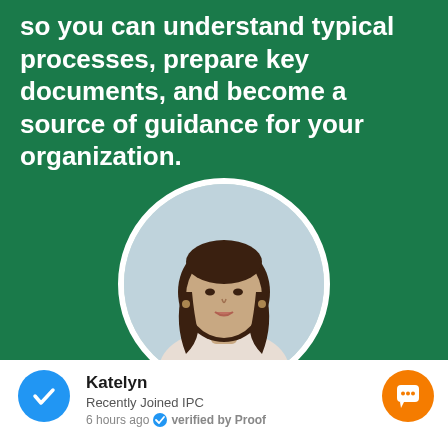so you can understand typical processes, prepare key documents, and become a source of guidance for your organization.
[Figure (photo): Circular portrait photo of a young woman with long dark hair, wearing a light-colored blazer, on a blurred professional background.]
Katelyn
Recently Joined IPC
6 hours ago  verified by Proof